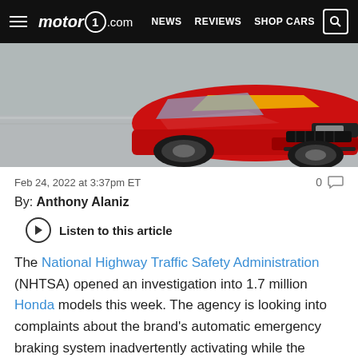motor1.com — NEWS   REVIEWS   SHOP CARS
[Figure (photo): Front quarter view of a red sports car (Honda) driving on a road with yellow lane markings, motion blur on background]
Feb 24, 2022 at 3:37pm ET
0 comments
By: Anthony Alaniz
Listen to this article
The National Highway Traffic Safety Administration (NHTSA) opened an investigation into 1.7 million Honda models this week. The agency is looking into complaints about the brand's automatic emergency braking system inadvertently activating while the vehicle is moving. According to NHTSA, the issue can